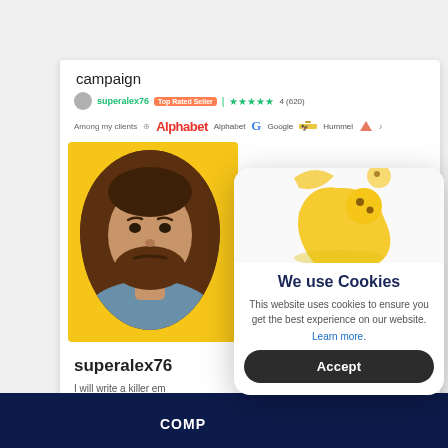[Figure (screenshot): Screenshot of a Fiverr-like freelancing website showing a seller profile for 'superalex76', labeled 'Top Rated Seller', with green star ratings '4 (620)', client logos including Alphabet and Google, and a profile photo on yellow background]
campaign
superalex76  Top Rated Seller  ★★★★★ 4 (620)
Among my clients  Alphabet  Google  Hummel
superalex76
I will write a killer email campaign About Th... COPYWRITER THAT...
[Figure (illustration): Cookie consent modal with cookie illustration at top, title 'We use Cookies', body text about cookies, 'Learn more.' link in blue, and dark 'Accept' button]
We use Cookies
This website uses cookies to ensure you get the best experience on our website. Learn more.
Accept
COMP...